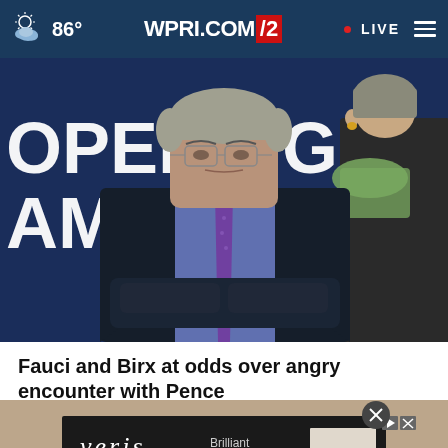WPRI.COM 12 | 86° | LIVE
[Figure (photo): Press conference scene with text 'OPENING AMERICA' on blue background; a man in dark suit and purple tie wearing glasses stands in foreground; a woman in black jacket and green scarf is partially visible at right]
Fauci and Birx at odds over angry encounter with Pence
[Figure (infographic): Advertisement for Veris Residential with text 'Brilliant living spaces.' and 'LEARN MORE' button; dark background with logo]